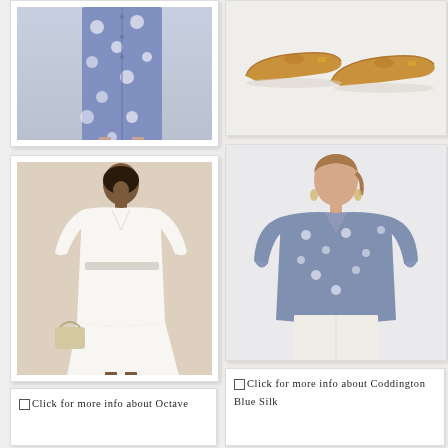[Figure (photo): Woman wearing a blue floral midi dress with a button front, shown from waist down, wearing pink flats]
[Figure (photo): Pair of tan/caramel leather ballet flats with gold hardware on a light grey background]
[Figure (photo): Black woman wearing a white V-neck midi dress with long sleeves and belted waist, holding a woven bag, wearing brown sandals]
[Figure (photo): Woman wearing a navy blue floral print blouse with light cream trousers, standing against light grey background]
Click for more info about Octave
Click for more info about Coddington Blue Silk